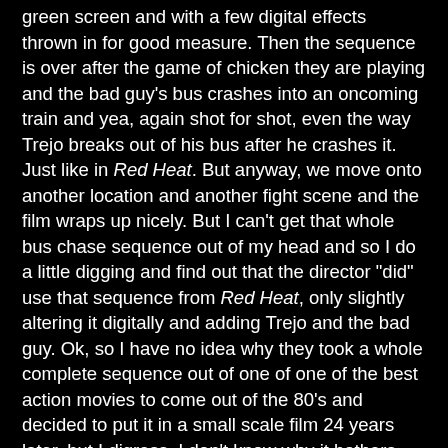green screen and with a few digital effects thrown in for good measure. Then the sequence is over after the game of chicken they are playing and the bad guy's bus crashes into an oncoming train and yea, again shot for shot, even the way Trejo breaks out of his bus after he crashes it. Just like in Red Heat. But anyway, we move onto another location and another fight scene and the film wraps up nicely. But I can't get that whole bus chase sequence out of my head and so I do a little digging and find out that the director "did" use that sequence from Red Heat, only slightly altering it digitally and adding Trejo and the bad guy. Ok, so I have no idea why they took a whole complete sequence out of one of one of the best action movies to come out of the 80's and decided to put it in a small scale film 24 years later, but I digress. I don't know why it bothers me so much, but it does.
This is supposedly based on a true story, but from what I understand they changed a lot of the details. But whatever, it's fun. And I'll be honest, I wasn't really sure about this one. I love Danny Trejo, but I'd never heard of writer/director Craig Moss and you know how that goes. Sometimes these